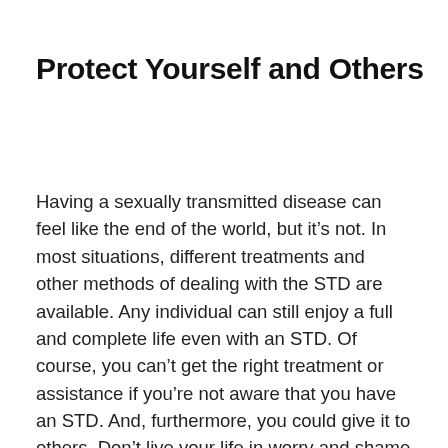Protect Yourself and Others
Having a sexually transmitted disease can feel like the end of the world, but it’s not. In most situations, different treatments and other methods of dealing with the STD are available. Any individual can still enjoy a full and complete life even with an STD. Of course, you can’t get the right treatment or assistance if you’re not aware that you have an STD. And, furthermore, you could give it to others. Don’t live your life in worry and shame when you don’t have to. Instead, know your STD status for sure by trying an STD test from MyLab Box at home. That way, no matter what the results, you can take the necessary